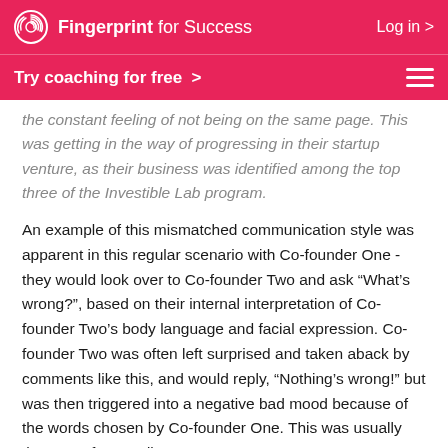Fingerprint for Success  Log in >
Try coaching for free >
the constant feeling of not being on the same page. This was getting in the way of progressing in their startup venture, as their business was identified among the top three of the Investible Lab program.
An example of this mismatched communication style was apparent in this regular scenario with Co-founder One - they would look over to Co-founder Two and ask “What’s wrong?”, based on their internal interpretation of Co-founder Two’s body language and facial expression. Co-founder Two was often left surprised and taken aback by comments like this, and would reply, “Nothing’s wrong!” but was then triggered into a negative bad mood because of the words chosen by Co-founder One. This was usually the start of many disagreements.